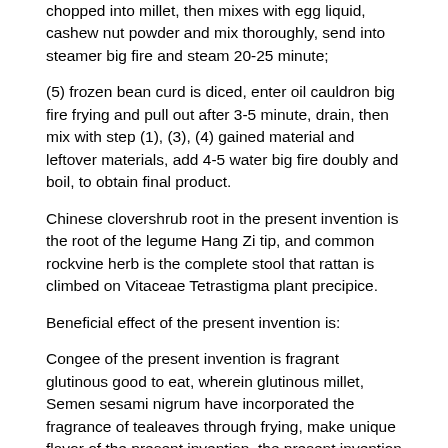chopped into millet, then mixes with egg liquid, cashew nut powder and mix thoroughly, send into steamer big fire and steam 20-25 minute;
(5) frozen bean curd is diced, enter oil cauldron big fire frying and pull out after 3-5 minute, drain, then mix with step (1), (3), (4) gained material and leftover materials, add 4-5 water big fire doubly and boil, to obtain final product.
Chinese clovershrub root in the present invention is the root of the legume Hang Zi tip, and common rockvine herb is the complete stool that rattan is climbed on Vitaceae Tetrastigma plant precipice.
Beneficial effect of the present invention is:
Congee of the present invention is fragrant glutinous good to eat, wherein glutinous millet, Semen sesami nigrum have incorporated the fragrance of tealeaves through frying, make unique flavor of the present invention, the present invention simultaneously also added Pig spareribs, nut etc., make comprehensive nutrition of the present invention perfect, in addition, the present invention with the addition of multiple Chinese herbal medicine in process, health-boosting and disease prevention maintaining